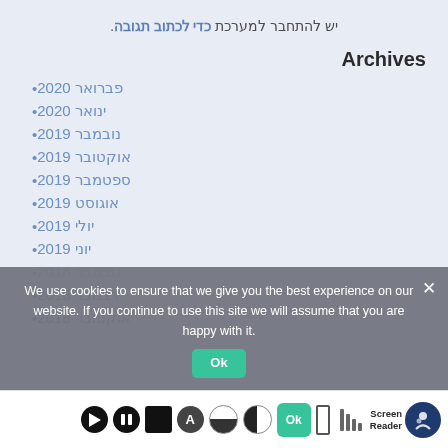יש להתחבר למערכת כדי לכתוב תגובה.
Archives
פברואר 2020
ינואר 2020
נובמבר 2019
אוקטובר 2019
ספטמבר 2019
אוגוסט 2019
יולי 2019
יוני 2019
נובמבר 2018
דצמבר 2018
אוקטובר 2018
We use cookies to ensure that we give you the best experience on our website. If you continue to use this site we will assume that you are happy with it.